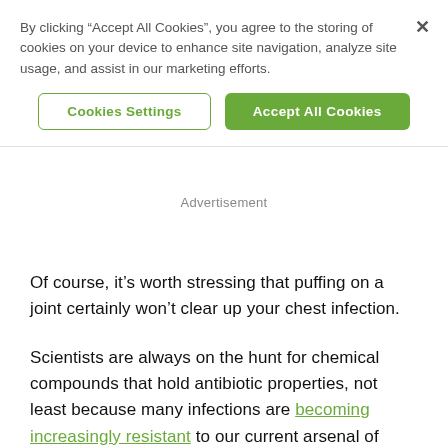By clicking “Accept All Cookies”, you agree to the storing of cookies on your device to enhance site navigation, analyze site usage, and assist in our marketing efforts.
Cookies Settings
Accept All Cookies
Advertisement
Of course, it’s worth stressing that puffing on a joint certainly won’t clear up your chest infection.
Scientists are always on the hunt for chemical compounds that hold antibiotic properties, not least because many infections are becoming increasingly resistant to our current arsenal of antibiotics. In one of the more exciting developments, researchers